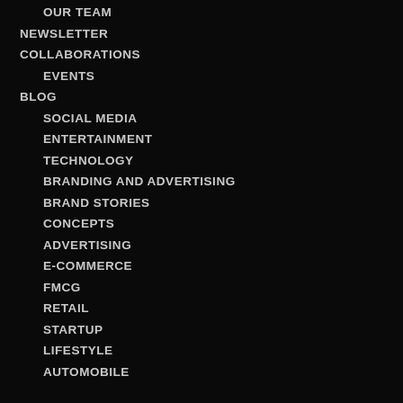OUR TEAM
NEWSLETTER
COLLABORATIONS
EVENTS
BLOG
SOCIAL MEDIA
ENTERTAINMENT
TECHNOLOGY
BRANDING AND ADVERTISING
BRAND STORIES
CONCEPTS
ADVERTISING
E-COMMERCE
FMCG
RETAIL
STARTUP
LIFESTYLE
AUTOMOBILE